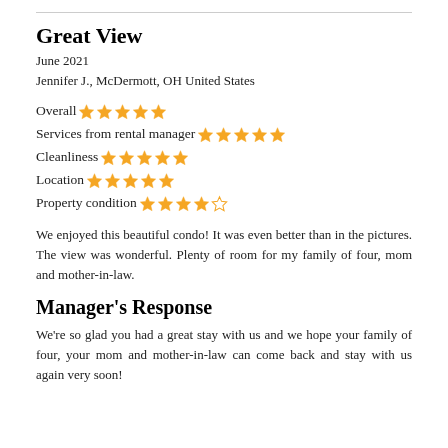Great View
June 2021
Jennifer J., McDermott, OH United States
Overall ★★★★★ (5 stars)
Services from rental manager ★★★★★ (4.5 stars)
Cleanliness ★★★★★ (5 stars)
Location ★★★★★ (5 stars)
Property condition ★★★★☆ (4 stars)
We enjoyed this beautiful condo! It was even better than in the pictures. The view was wonderful. Plenty of room for my family of four, mom and mother-in-law.
Manager's Response
We're so glad you had a great stay with us and we hope your family of four, your mom and mother-in-law can come back and stay with us again very soon!